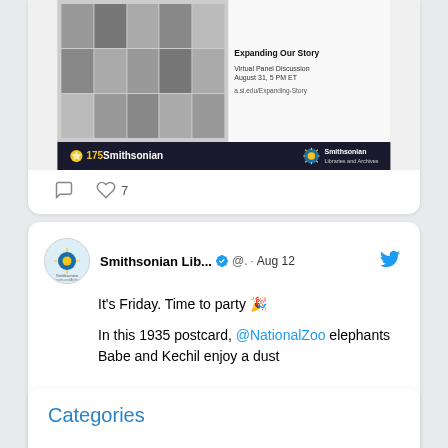[Figure (screenshot): Bottom of a social media post card showing a Smithsonian Libraries and Archives event image (grid of black and white portrait photos), a dark banner with '175 Smithsonian' text and Smithsonian Libraries and Archives logo, and social action icons (comment, 7 likes).]
[Figure (screenshot): Twitter/social media post card from Smithsonian Lib... account (@.) dated Aug 12. Avatar shows Smithsonian Libraries and Archives logo. Text reads: 'It's Friday. Time to party 🎉 In this 1935 postcard, @NationalZoo elephants Babe and Kechil enjoy a dust' (truncated)]
Categories